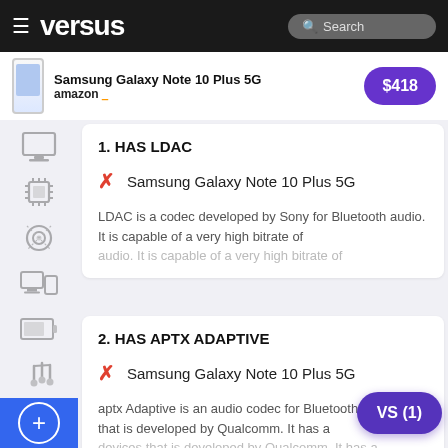versus — Search
[Figure (screenshot): Ad banner for Samsung Galaxy Note 10 Plus 5G on Amazon, price $418]
1. HAS LDAC
✗ Samsung Galaxy Note 10 Plus 5G
LDAC is a codec developed by Sony for Bluetooth audio. It is capable of a very high bitrate of
2. HAS APTX ADAPTIVE
✗ Samsung Galaxy Note 10 Plus 5G
aptx Adaptive is an audio codec for Bluetooth devices that is developed by Qualcomm. It has a
3. HAS APTX HD